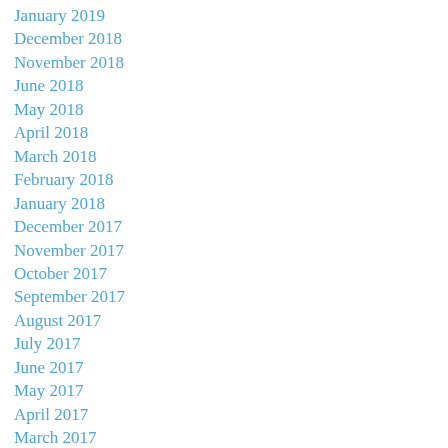January 2019
December 2018
November 2018
June 2018
May 2018
April 2018
March 2018
February 2018
January 2018
December 2017
November 2017
October 2017
September 2017
August 2017
July 2017
June 2017
May 2017
April 2017
March 2017
February 2017
January 2017